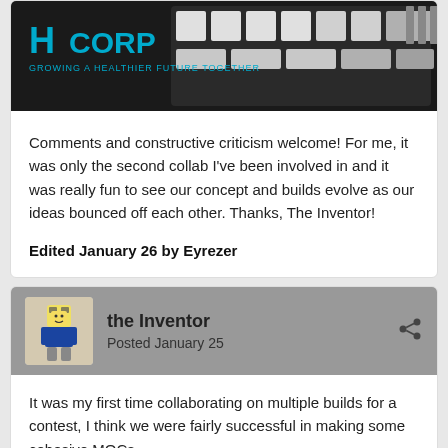[Figure (photo): Photo of a LEGO spaceship/vehicle build with H Corp logo and tagline 'Growing a Healthier Future Together' on a dark background]
Comments and constructive criticism welcome! For me, it was only the second collab I've been involved in and it was really fun to see our concept and builds evolve as our ideas bounced off each other. Thanks, The Inventor!
Edited January 26 by Eyrezer
[Figure (photo): Avatar of the Inventor user showing a LEGO minifigure]
the Inventor
Posted January 25
It was my first time collaborating on multiple builds for a contest, I think we were fairly successful in making some cohesive MOCs.

Thanks @Eyrezer .